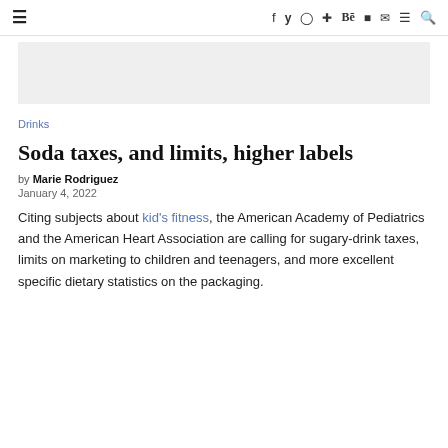≡   f  y  ⊙  ⊕  Bē  ▶  ✉  ≡  🔍
[Figure (other): Gray advertisement banner placeholder]
Drinks
Soda taxes, and limits, higher labels
by Marie Rodriguez
January 4, 2022
Citing subjects about kid's fitness, the American Academy of Pediatrics and the American Heart Association are calling for sugary-drink taxes, limits on marketing to children and teenagers, and more excellent specific dietary statistics on the packaging.